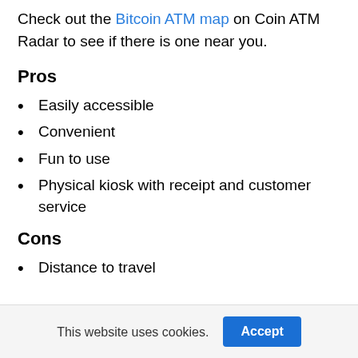Check out the Bitcoin ATM map on Coin ATM Radar to see if there is one near you.
Pros
Easily accessible
Convenient
Fun to use
Physical kiosk with receipt and customer service
Cons
Distance to travel
This website uses cookies.